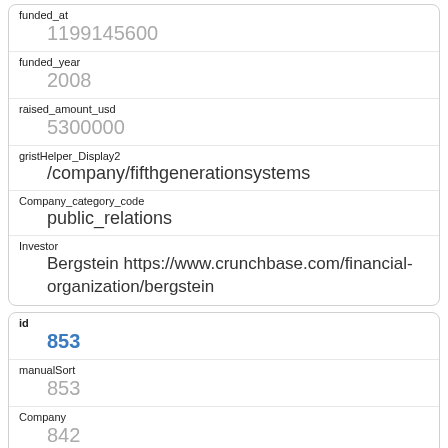| Field | Value |
| --- | --- |
| funded_at | 1199145600 |
| funded_year | 2008 |
| raised_amount_usd | 5300000 |
| gristHelper_Display2 | /company/fifthgenerationsystems |
| Company_category_code | public_relations |
| Investor | Bergstein https://www.crunchbase.com/financial-organization/bergstein |
| Field | Value |
| --- | --- |
| id | 853 |
| manualSort | 853 |
| Company | 842 |
| investor_permalink |  |